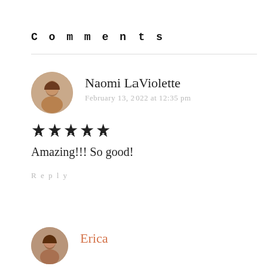Comments
Naomi LaViolette
February 13, 2022 at 12:35 pm
★★★★★
Amazing!!! So good!
Reply
Erica